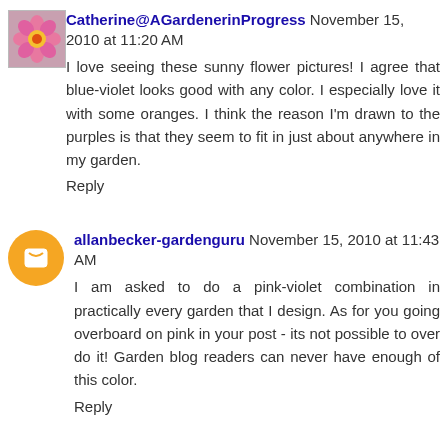Catherine@AGardenerinProgress November 15, 2010 at 11:20 AM
I love seeing these sunny flower pictures! I agree that blue-violet looks good with any color. I especially love it with some oranges. I think the reason I'm drawn to the purples is that they seem to fit in just about anywhere in my garden.
Reply
allanbecker-gardenguru November 15, 2010 at 11:43 AM
I am asked to do a pink-violet combination in practically every garden that I design. As for you going overboard on pink in your post - its not possible to over do it! Garden blog readers can never have enough of this color.
Reply
Lona November 15, 2010 at 1:00 PM
Violet is the new white. LOL! I think it goes wonderfully with about all the colors in the garden. Paired up with orange...